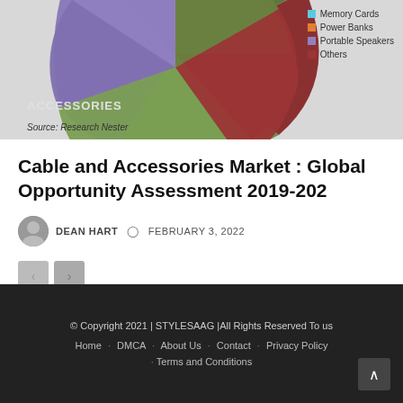[Figure (pie-chart): Partial pie chart showing cable and accessories market segments including Memory Cards, Power Banks, Portable Speakers, and Others. Legend visible on right side.]
ACCESSORIES
Source: Research Nester
Cable and Accessories Market : Global Opportunity Assessment 2019-202
DEAN HART  © FEBRUARY 3, 2022
© Copyright 2021 | STYLESAAG |All Rights Reserved To us
Home · DMCA · About Us · Contact · Privacy Policy · Terms and Conditions